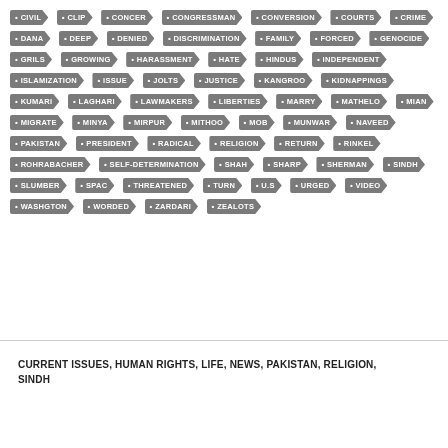CIVIL • CLIP • CONCER • CONGRESSMAN • CONVERSION • COURTS • CRIME • DANA • DEEP • DENIED • DISCRIMINATION • FAMILY • FORCED • GENOCIDE • GRILS • GROWING • HARASSMENT • HATE • HINDUS • INDEPENDENT • ISLAMIZATION • ISSUE • JOLTS • JUSTICE • KANGROO • KIDNAPPINGS • KUMARI • LAGHARI • LAWMAKERS • LIBERTIES • MARRY • MATHELO • MIAN • MIGRATE • MINYA • MIRPUR • MITHOO • MOB • MUNWAR • NAVEED • PAKISTAN • PRESIDENT • RADICAL • RELIGION • RETURN • RINKEL • ROHRABACHER • SELF-DETERMINATION • SHAH • SHARP • SHERMAN • SINDH • SLUMBER • SPAC • THREATENED • TURN • U.S • URGED • VIDEO • WASHGTON • WORDED • ZARDARI • ZEALOTS
CURRENT ISSUES, HUMAN RIGHTS, LIFE, NEWS, PAKISTAN, RELIGION, SINDH